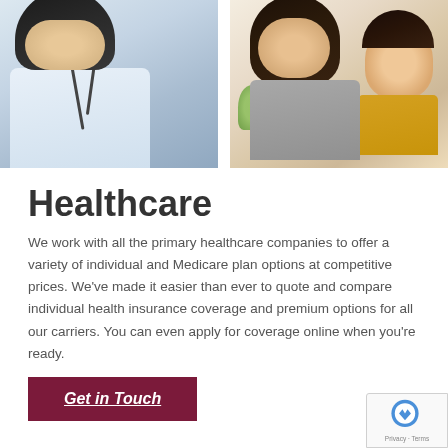[Figure (photo): Split photo banner: left side shows a doctor with stethoscope leaning over a patient; right side shows a mother and young child smiling together with a plant in the background.]
Healthcare
We work with all the primary healthcare companies to offer a variety of individual and Medicare plan options at competitive prices. We've made it easier than ever to quote and compare individual health insurance coverage and premium options for all our carriers. You can even apply for coverage online when you're ready.
Get in Touch